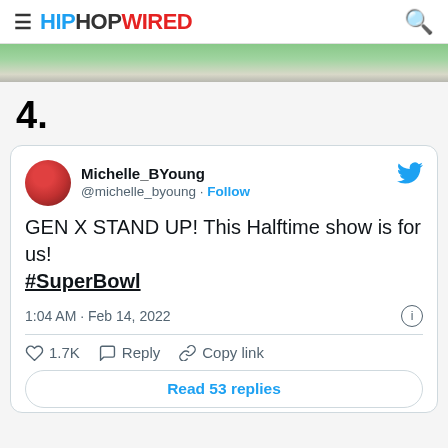HIPHOPWIRED
[Figure (photo): Partial green outdoor image strip at top of article]
4.
[Figure (screenshot): Embedded tweet from Michelle_BYoung (@michelle_byoung) reading: GEN X STAND UP! This Halftime show is for us! #SuperBowl — 1:04 AM · Feb 14, 2022 · 1.7K likes — Read 53 replies]
GEN X STAND UP! This Halftime show is for us! #SuperBowl
1:04 AM · Feb 14, 2022
1.7K  Reply  Copy link
Read 53 replies